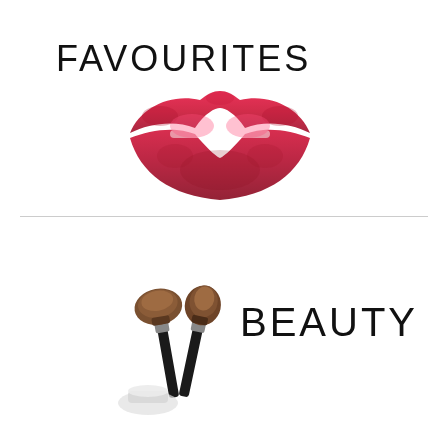FAVOURITES
[Figure (illustration): Red lipstick kiss mark / lip print illustration]
[Figure (illustration): Two makeup brushes and cosmetic product containers]
BEAUTY